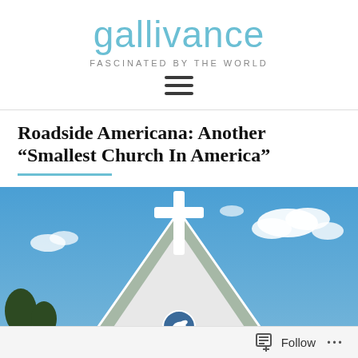gallivance
FASCINATED BY THE WORLD
[Figure (other): Hamburger menu icon (three horizontal lines)]
Roadside Americana: Another “Smallest Church In America”
[Figure (photo): Photo of a small white church steeple with a white cross against a bright blue sky with white clouds. The church has a green metal roof and a circular window with a dove symbol near the peak of the gable.]
Follow ...